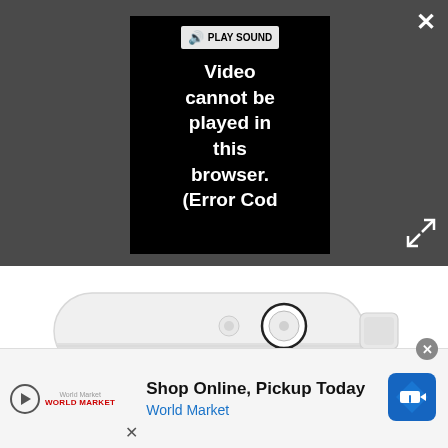[Figure (screenshot): Video player UI with dark gray background, showing a black video error box with 'PLAY SOUND' button and error text 'Video cannot be played in this browser. (Error Cod', close X button top right, expand arrows bottom right]
[Figure (photo): White Bluetooth portable speaker with fabric bottom, two buttons on top (small circular and larger circular with ring), and a strap on the right side, viewed from above at slight angle]
Shop Online, Pickup Today
World Market